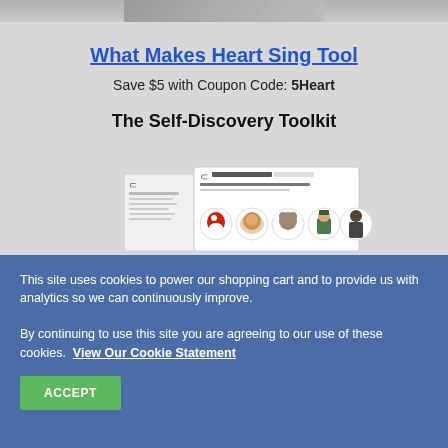[Figure (illustration): Partial image strip at the top of the page, showing a cropped product image]
What Makes Heart Sing Tool
Save $5 with Coupon Code: 5Heart
The Self-Discovery Toolkit
[Figure (illustration): Toolkit product image showing worksheets and cartoon character icons including a bird, lion, bear, soldier, and other figures with a horseshoe logo]
This site uses cookies to power our shopping cart and to provide us with analytics so we can continuously improve. By continuing to use this site you are agreeing to our use of these cookies.  View Our Cookie Statement
ACCEPT